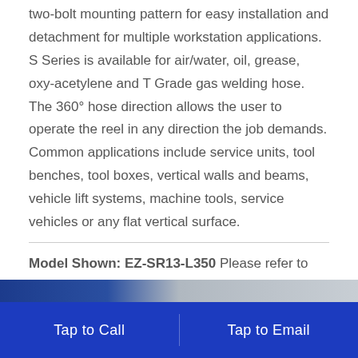two-bolt mounting pattern for easy installation and detachment for multiple workstation applications. S Series is available for air/water, oil, grease, oxy-acetylene and T Grade gas welding hose. The 360° hose direction allows the user to operate the reel in any direction the job demands. Common applications include service units, tool benches, tool boxes, vertical walls and beams, vehicle lift systems, machine tools, service vehicles or any flat vertical surface.
Model Shown: EZ-SR13-L350 Please refer to Overall Dimensions for the different reel sizes available.
[Figure (photo): Partial view of a hose reel product image strip at the bottom of the content area, showing blue and grey tones.]
Tap to Call    Tap to Email